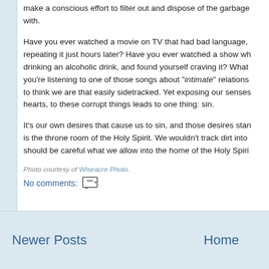make a conscious effort to filter out and dispose of the garbage we fill our minds with.
Have you ever watched a movie on TV that had bad language, and found yourself repeating it just hours later? Have you ever watched a show where someone was drinking an alcoholic drink, and found yourself craving it? What about when you're listening to one of those songs about “intimate” relations… It’s embarrassing to think we are that easily sidetracked. Yet exposing our senses, and therefore our hearts, to these corrupt things leads to one thing: sin.
It’s our own desires that cause us to sin, and those desires start in the heart, which is the throne room of the Holy Spirit. We wouldn’t track dirt into a palace. We should be careful what we allow into the home of the Holy Spiri…
Photo courtesy of Wiseacre Photo.
No comments:
Newer Posts    Home